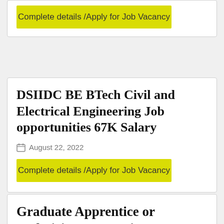Complete details /Apply for Job Vacancy
DSIIDC BE BTech Civil and Electrical Engineering Job opportunities 67K Salary
August 22, 2022
Complete details /Apply for Job Vacancy
Graduate Apprentice or Technician Apprentice 75 Mechanical Electrical Civil